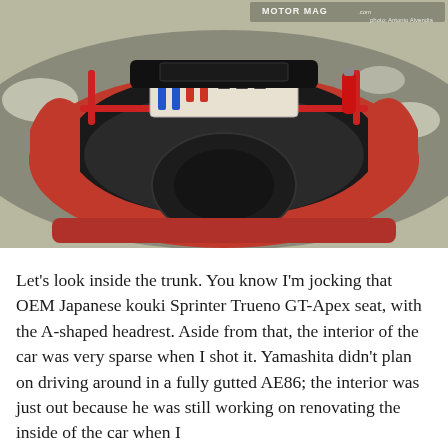[Figure (photo): Aerial/overhead view of the open trunk of a red Toyota AE86 (Sprinter Trueno), showing the gutted interior with red roll cage bars, blue hydraulic lines, a red fire extinguisher, and the spare tire well visible. The car is parked on a road with patches of snow visible at the edges.]
Let's look inside the trunk. You know I'm jocking that OEM Japanese kouki Sprinter Trueno GT-Apex seat, with the A-shaped headrest. Aside from that, the interior of the car was very sparse when I shot it. Yamashita didn't plan on driving around in a fully gutted AE86; the interior was just out because he was still working on renovating the inside of the car when I